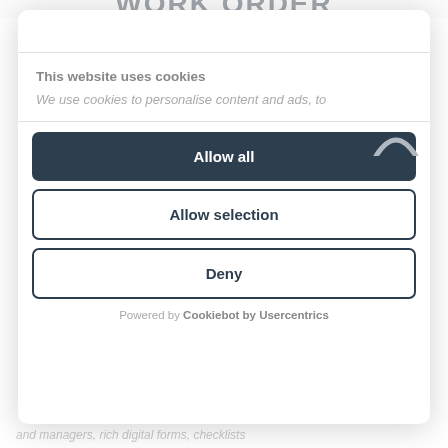WORK ORDER
This website uses cookies
We use cookies to personalise content and ads, to
[Figure (logo): Arc/curved logo shape in top-right corner of cookie modal]
Allow all
Allow selection
Deny
Powered by Cookiebot by Usercentrics
and managers, rich digital forms, checklists